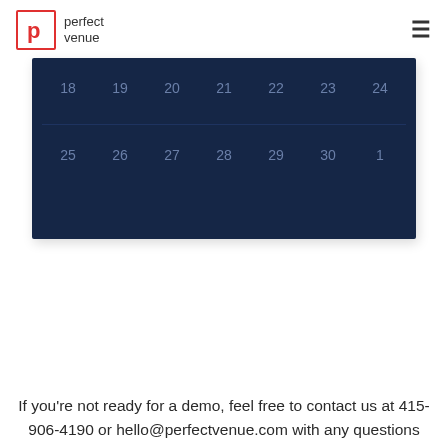perfect venue
[Figure (other): Calendar showing dates 18-24 and 25-1 in a dark navy grid layout]
If you're not ready for a demo, feel free to contact us at 415-906-4190 or hello@perfectvenue.com with any questions